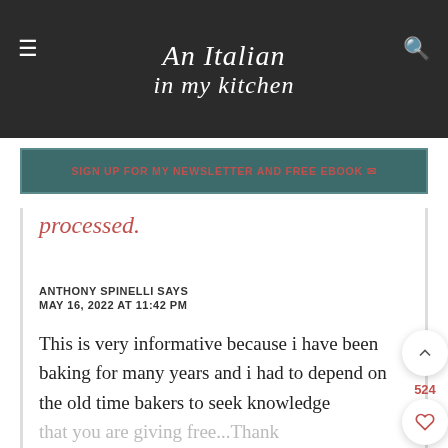An Italian in my kitchen
SIGN UP FOR MY NEWSLETTER AND FREE EBOOK
processed.
ANTHONY SPINELLI SAYS
MAY 16, 2022 AT 11:42 PM
This is very informative because i have been baking for many years and i had to depend on the old time bakers to seek knowledge that you are giving free...Thank